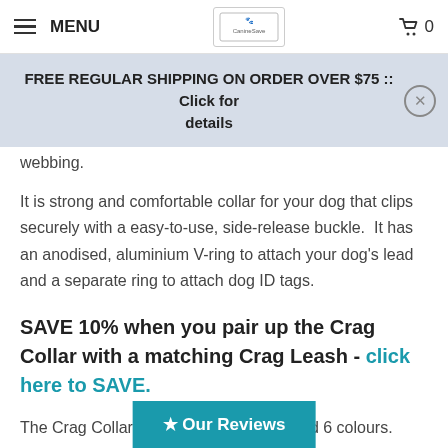MENU | CanineSave logo | Cart 0
FREE REGULAR SHIPPING ON ORDER OVER $75 :: Click for details
webbing.
It is strong and comfortable collar for your dog that clips securely with a easy-to-use, side-release buckle.  It has an anodised, aluminium V-ring to attach your dog's lead and a separate ring to attach dog ID tags.
SAVE 10% when you pair up the Crag Collar with a matching Crag Leash - click here to SAVE.
The Crag Collar is available in 3 sizes and 6 colours.
Sizing
Measure comfortably neck.  If your dog is